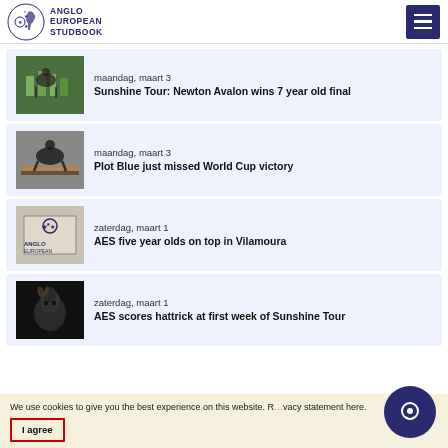ANGLO EUROPEAN STUDBOOK
maandag, maart 3
Sunshine Tour: Newton Avalon wins 7 year old final
maandag, maart 3
Plot Blue just missed World Cup victory
zaterdag, maart 1
AES five year olds on top in Vilamoura
zaterdag, maart 1
AES scores hattrick at first week of Sunshine Tour
We use cookies to give you the best experience on this website. R… privacy statement here. I agree